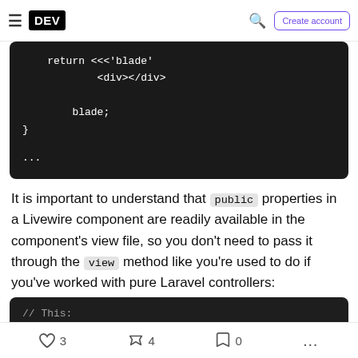DEV | Create account
[Figure (screenshot): Dark code block showing PHP/Blade return statement with heredoc syntax: return <<<'blade' <div></div> blade; } ...]
It is important to understand that public properties in a Livewire component are readily available in the component's view file, so you don't need to pass it through the view method like you're used to do if you've worked with pure Laravel controllers:
[Figure (screenshot): Dark code block showing: // This: class PostItem extends Component {]
3 likes  4 reactions  0 bookmarks  ...